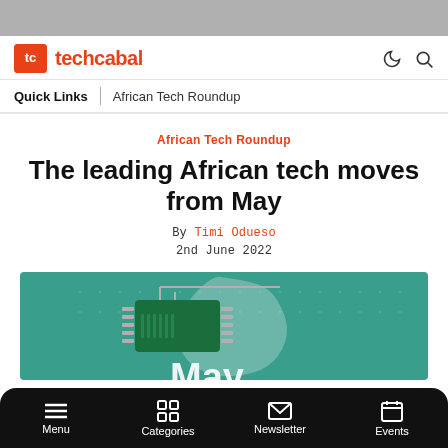techcabal
Quick Links | African Tech Roundup
African Tech Roundup
The leading African tech moves from May
By Timi Odueso
2nd June 2022
[Figure (illustration): Green teal background with African map silhouette and circuit board/chip illustration. Word 'May' partially visible at bottom.]
Menu | Categories | Newsletter | Events